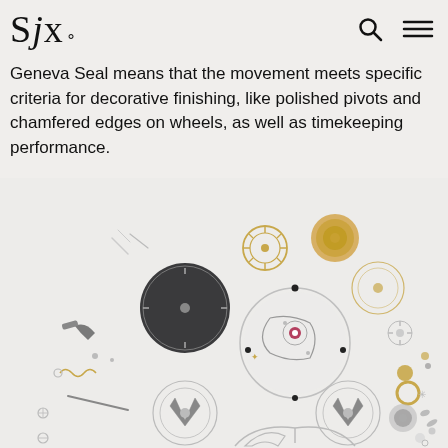SJx.
Geneva Seal means that the movement meets specific criteria for decorative finishing, like polished pivots and chamfered edges on wheels, as well as timekeeping performance.
[Figure (photo): Exploded view of a luxury watch movement showing numerous individual components including gears, wheels, bridges, screws, jewels, and other mechanical parts arranged on a light grey background. Components include a dial, balance wheel assembly, various cogs, springs, and decorative elements in gold and silver tones.]